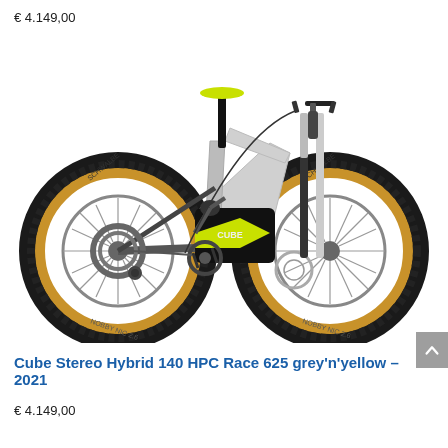€ 4.149,00
[Figure (photo): Cube Stereo Hybrid 140 HPC Race 625 electric mountain bike in grey and yellow colorway, 2021 model. Full suspension e-MTB with tan wall tires, shown in side profile facing right.]
Cube Stereo Hybrid 140 HPC Race 625 grey'n'yellow – 2021
€ 4.149,00